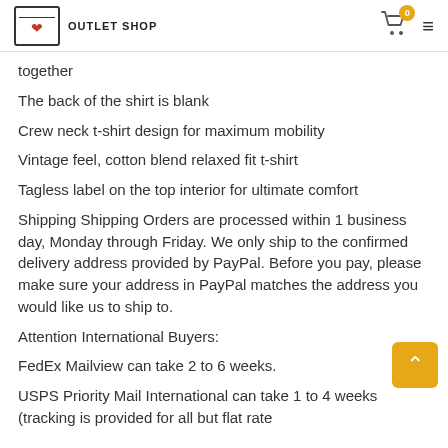OUTLET SHOP
together
The back of the shirt is blank
Crew neck t-shirt design for maximum mobility
Vintage feel, cotton blend relaxed fit t-shirt
Tagless label on the top interior for ultimate comfort
Shipping Shipping Orders are processed within 1 business day, Monday through Friday. We only ship to the confirmed delivery address provided by PayPal. Before you pay, please make sure your address in PayPal matches the address you would like us to ship to.
Attention International Buyers:
FedEx Mailview can take 2 to 6 weeks.
USPS Priority Mail International can take 1 to 4 weeks (tracking is provided for all but flat rate